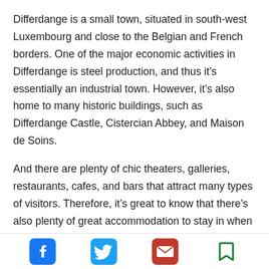Differdange is a small town, situated in south-west Luxembourg and close to the Belgian and French borders. One of the major economic activities in Differdange is steel production, and thus it's essentially an industrial town. However, it's also home to many historic buildings, such as Differdange Castle, Cistercian Abbey, and Maison de Soins.
And there are plenty of chic theaters, galleries, restaurants, cafes, and bars that attract many types of visitors. Therefore, it's great to know that there's also plenty of great accommodation to stay in when visiting Differdange. Here is our list of the eight best places to stay in Differdange, Luxembourg.
1. Hotel Carnini (from USD 72)